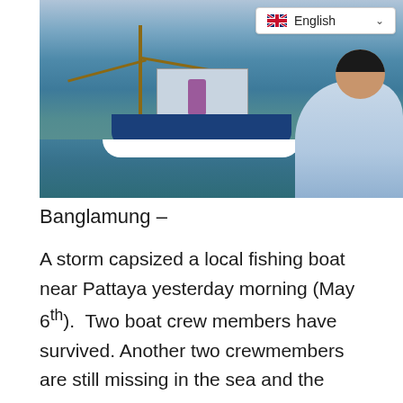[Figure (photo): A fishing boat on the sea viewed from behind a man in a light blue shirt. The blue fishing boat has a person standing on deck, with poles and rigging visible. A language selector showing English with a UK flag is overlaid in the top right corner of the image.]
Banglamung –
A storm capsized a local fishing boat near Pattaya yesterday morning (May 6th).  Two boat crew members have survived. Another two crewmembers are still missing in the sea and the